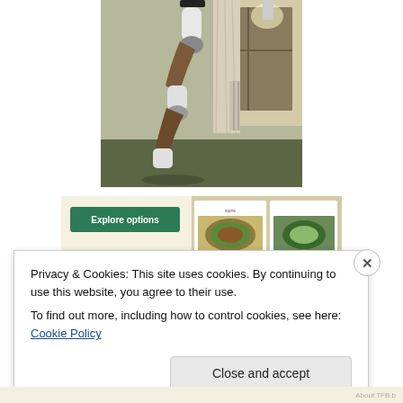[Figure (photo): A robotic arm with white and brown/metallic segments photographed indoors near a window with curtains and a radiator. The background shows a light-colored wall and wooden floor.]
[Figure (screenshot): A partial screenshot showing a green 'Explore options' button on a beige background, alongside a food/recipe website interface showing plates of food.]
Privacy & Cookies: This site uses cookies. By continuing to use this website, you agree to their use.
To find out more, including how to control cookies, see here: Cookie Policy
Close and accept
About TFB.b